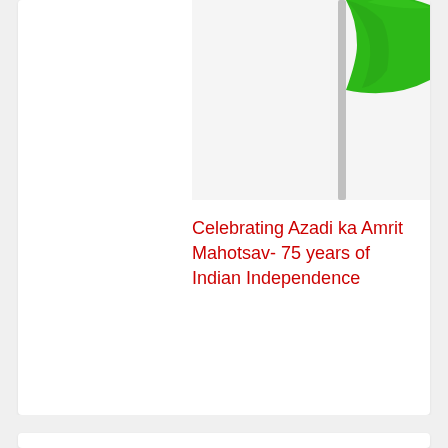[Figure (photo): Green flag with flagpole, partially cropped at top-right of card. Indian Independence celebration banner.]
Celebrating Azadi ka Amrit Mahotsav- 75 years of Indian Independence
Novel coronavirus outbreak - Updates